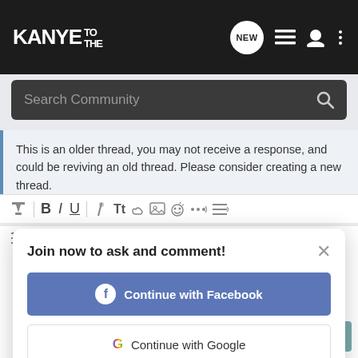KANYE TO THE — navigation header with NEW, list, user, and menu icons
Search Community
This is an older thread, you may not receive a response, and could be reviving an old thread. Please consider creating a new thread.
[Figure (screenshot): Rich text editor toolbar with formatting icons: eraser, B, I, U, color, Tt, link, image, camera, emoji, more, align]
Write your reply...
[Figure (screenshot): Modal dialog: Join now to ask and comment! with Continue with Facebook button, Continue with Google button, or sign up with email link]
Post Reply